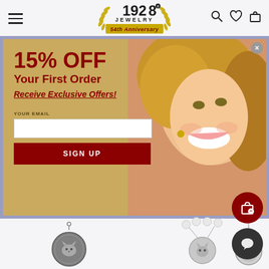1928 JEWELRY 54th Anniversary
[Figure (screenshot): Popup modal with gold beige background and woman smiling wearing gold earrings. Left side shows promotional text '15% OFF Your First Order Receive Exclusive Offers!' with email input field and SIGN UP button. Right side shows close-up photo of a blonde woman smiling.]
15% OFF
Your First Order
Receive Exclusive Offers!
YOUR EMAIL
SIGN UP
[Figure (photo): Silver cat pendant on chain - round medallion with cat design]
[Figure (photo): Silver cat face charm on pearl necklace]
[Figure (photo): Silver bead charm on chain]